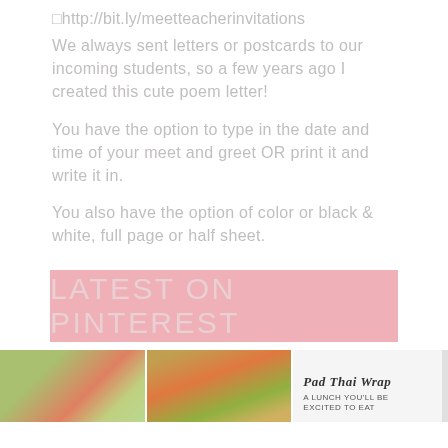□http://bit.ly/meetteacherinvitations
We always sent letters or postcards to our incoming students, so a few years ago I created this cute poem letter!
You have the option to type in the date and time of your meet and greet OR print it and write it in.
You also have the option of color or black & white, full page or half sheet.
LATEST ON PINTEREST
[Figure (photo): Three small thumbnail photos: a salad with colorful vegetables, a sandwich/wrap dish, and a text card reading PAD THAI WRAP A LUNCH YOU'LL BE EXCITED TO EAT]